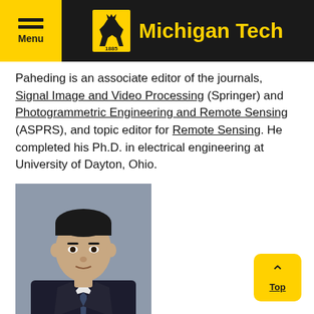Michigan Tech — Menu / Navigation header
Paheding is an associate editor of the journals, Signal Image and Video Processing (Springer) and Photogrammetric Engineering and Remote Sensing (ASPRS), and topic editor for Remote Sensing. He completed his Ph.D. in electrical engineering at University of Dayton, Ohio.
[Figure (photo): Professional headshot of a man in a dark suit and tie against a grey background.]